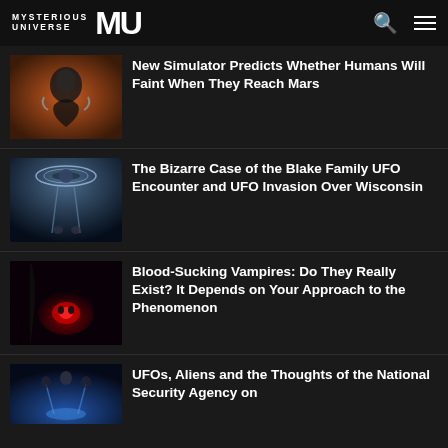MYSTERIOUS UNIVERSE MU
New Simulator Predicts Whether Humans Will Faint When They Reach Mars
The Bizarre Case of the Blake Family UFO Encounter and UFO Invasion Over Wisconsin
Blood-Sucking Vampires: Do They Really Exist? It Depends on Your Approach to the Phenomenon
UFOs, Aliens and the Thoughts of the National Security Agency on